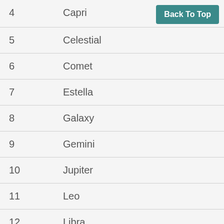| # | Name |
| --- | --- |
| 4 | Capri |
| 5 | Celestial |
| 6 | Comet |
| 7 | Estella |
| 8 | Galaxy |
| 9 | Gemini |
| 10 | Jupiter |
| 11 | Leo |
| 12 | Libra |